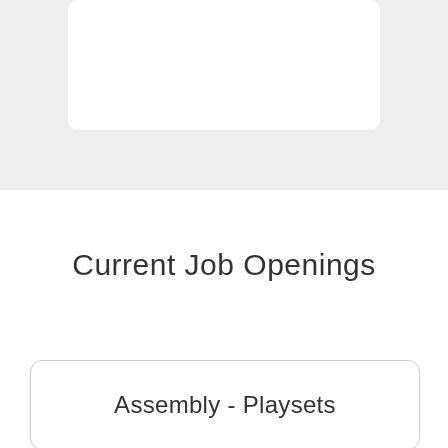[Figure (other): Top gray background section with a white rounded card partially visible at the top]
Current Job Openings
Assembly - Playsets